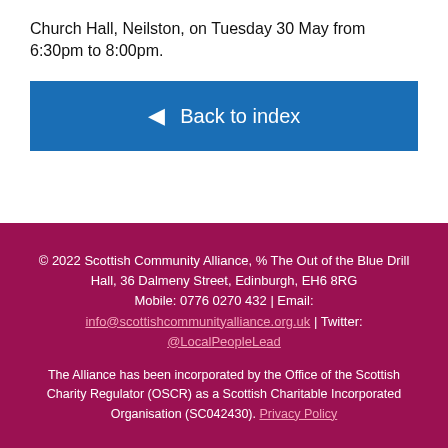Church Hall, Neilston, on Tuesday 30 May from 6:30pm to 8:00pm.
◄ Back to index
© 2022 Scottish Community Alliance, % The Out of the Blue Drill Hall, 36 Dalmeny Street, Edinburgh, EH6 8RG Mobile: 0776 0270 432 | Email: info@scottishcommunityalliance.org.uk | Twitter: @LocalPeopleLead

The Alliance has been incorporated by the Office of the Scottish Charity Regulator (OSCR) as a Scottish Charitable Incorporated Organisation (SC042430). Privacy Policy